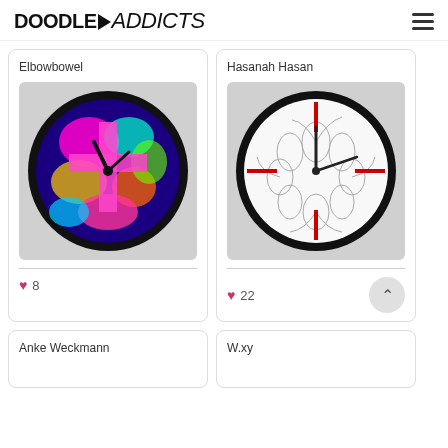DOODLE▶addicts
Elbowbowel
[Figure (illustration): Round wall clock with colorful psychedelic art featuring a cross and vivid colors in blues, pinks, greens on a black background]
♥ 8
Hasanah Hasan
[Figure (illustration): Round wall clock with white face showing delicate floral line art, black hands, and red accent lines forming a cross]
♥ 22
Anke Weckmann
W.xy